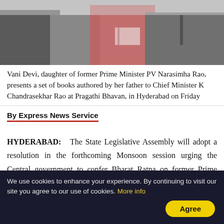[Figure (photo): Photo of Vani Devi presenting books to Chief Minister K Chandrasekhar Rao at Pragathi Bhavan]
Vani Devi, daughter of former Prime Minister PV Narasimha Rao, presents a set of books authored by her father to Chief Minister K Chandrasekhar Rao at Pragathi Bhavan, in Hyderabad on Friday
By Express News Service
HYDERABAD:   The State Legislative Assembly will adopt a resolution in the forthcoming Monsoon session urging the Central government to confer Bharat Ratna on former Prime Minister PV Narasimha Rao. The Necklace Road in Hyderabad will be renamed as ‘PV Gyan Marg’ Chief Minister K Chandrasekhar Rao
We use cookies to enhance your experience. By continuing to visit our site you agree to our use of cookies. More info